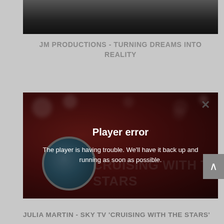[Figure (screenshot): Dark gradient video thumbnail at the top of the page]
JM PRODUCTIONS - TURNING DREAMS INTO REALITY
[Figure (screenshot): Video player showing a red bokeh background with 'CRUISING WITH THE STARS' text, a circular emblem on the left, and a player error overlay in the center. The overlay reads 'Player error' and 'The player is having trouble. We'll have it back up and running as soon as possible.' There is an X close button in the top right corner.]
JULIA MARTIN - SKY TV 'CRUISING WITH THE STARS'